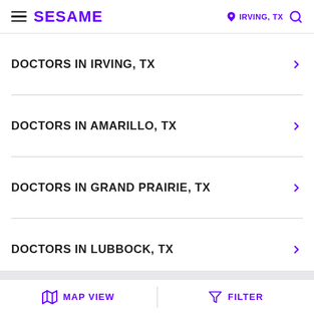SESAME — IRVING, TX
DOCTORS IN IRVING, TX
DOCTORS IN AMARILLO, TX
DOCTORS IN GRAND PRAIRIE, TX
DOCTORS IN LUBBOCK, TX
MAP VIEW  FILTER